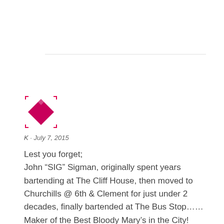[Figure (logo): Pink/magenta diamond-shaped logo with four small corner bracket elements in pink/white]
K · July 7, 2015
Lest you forget;
John “SIG” Sigman, originally spent years bartending at The Cliff House, then moved to Churchills @ 6th & Clement for just under 2 decades, finally bartended at The Bus Stop……Maker of the Best Bloody Mary’s in the City!